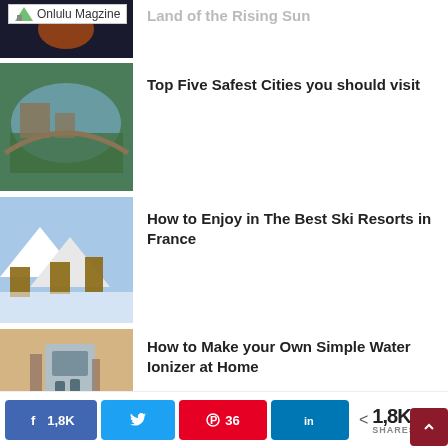Onlulu Magzine
Land of the Rising Sun
Top Five Safest Cities you should visit
How to Enjoy in The Best Ski Resorts in France
How to Make your Own Simple Water Ionizer at Home
Gorgeous Places in Bali – Tanah Lot Temple, Kuta Beach and Gigit Waterfall
1,8K  36  1,8K SHARES